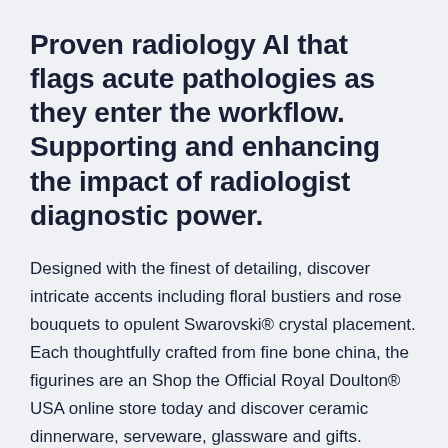Proven radiology AI that flags acute pathologies as they enter the workflow. Supporting and enhancing the impact of radiologist diagnostic power.
Designed with the finest of detailing, discover intricate accents including floral bustiers and rose bouquets to opulent Swarovski® crystal placement. Each thoughtfully crafted from fine bone china, the figurines are an Shop the Official Royal Doulton® USA online store today and discover ceramic dinnerware, serveware, glassware and gifts.
Oct 01, 2020 · This video will show you